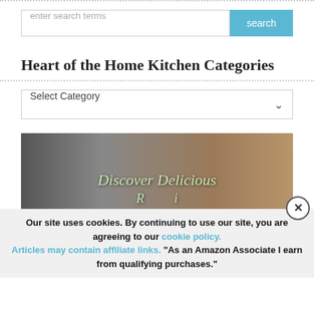[Figure (screenshot): Search bar with text input 'enter search terms' and a blue 'search' button]
Heart of the Home Kitchen Categories
[Figure (screenshot): Dropdown select box labeled 'Select Category' with a chevron arrow]
[Figure (photo): Photo banner with blurred kitchen background and text 'Discover Delicious' in green italic serif font, partially showing a second line starting with 'R']
Our site uses cookies. By continuing to use our site, you are agreeing to our cookie policy. Articles may contain affiliate links. "As an Amazon Associate I earn from qualifying purchases."